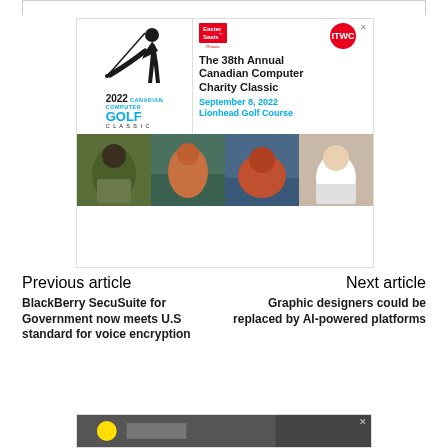[Figure (infographic): Advertisement for the 38th Annual Canadian Computer Charity Classic golf event, September 8, 2022 at Lionhead Golf Course. Features Easter Seals and ITWC logos, a golfer silhouette, '2022 Canadian Computer Golf Classic' text, and four photos of children.]
Previous article
Next article
BlackBerry SecuSuite for Government now meets U.S standard for voice encryption
Graphic designers could be replaced by AI-powered platforms
[Figure (photo): Bottom advertisement banner with dark background]